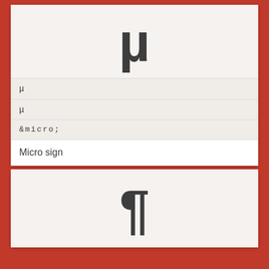[Figure (illustration): Large bold mu (µ) symbol displayed in dark gray]
| µ |
| µ |
| &micro; |
| Micro sign |
[Figure (illustration): Large bold pilcrow/paragraph (¶) symbol displayed in dark gray]